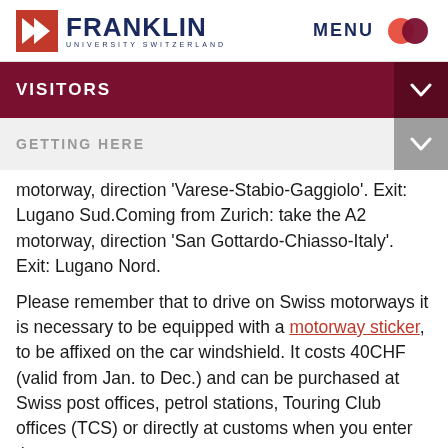FRANKLIN UNIVERSITY SWITZERLAND | MENU
VISITORS
GETTING HERE
motorway, direction 'Varese-Stabio-Gaggiolo'. Exit: Lugano Sud.Coming from Zurich: take the A2 motorway, direction 'San Gottardo-Chiasso-Italy'. Exit: Lugano Nord.
Please remember that to drive on Swiss motorways it is necessary to be equipped with a motorway sticker, to be affixed on the car windshield. It costs 40CHF (valid from Jan. to Dec.) and can be purchased at Swiss post offices, petrol stations, Touring Club offices (TCS) or directly at customs when you enter the country.